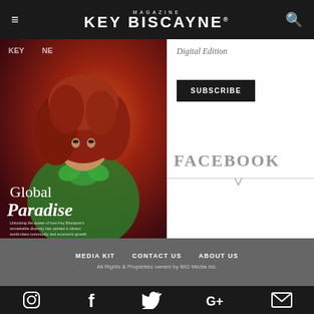MAGAZINE KEY BISCAYNE®
[Figure (photo): Magazine cover showing a woman with curly red hair wearing a green bow blouse against an orange/red background, with text 'Global Paradise' and subtitle about Key Biscayne's diversity]
Digital Edition
SUBSCRIBE
FACEBOOK
MEDIA KIT   CONTACT US   ABOUT US